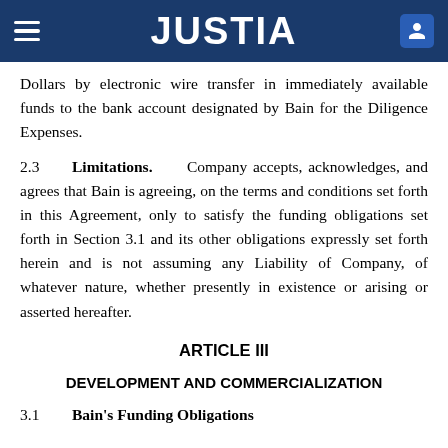JUSTIA
Dollars by electronic wire transfer in immediately available funds to the bank account designated by Bain for the Diligence Expenses.
2.3  Limitations.  Company accepts, acknowledges, and agrees that Bain is agreeing, on the terms and conditions set forth in this Agreement, only to satisfy the funding obligations set forth in Section 3.1 and its other obligations expressly set forth herein and is not assuming any Liability of Company, of whatever nature, whether presently in existence or arising or asserted hereafter.
ARTICLE III
DEVELOPMENT AND COMMERCIALIZATION
3.1  Bain's Funding Obligations